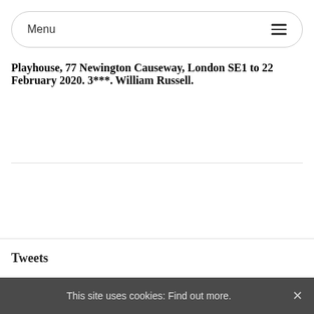Menu
Playhouse, 77 Newington Causeway, London SE1 to 22 February 2020. 3***. William Russell.
Tweets
This site uses cookies: Find out more.